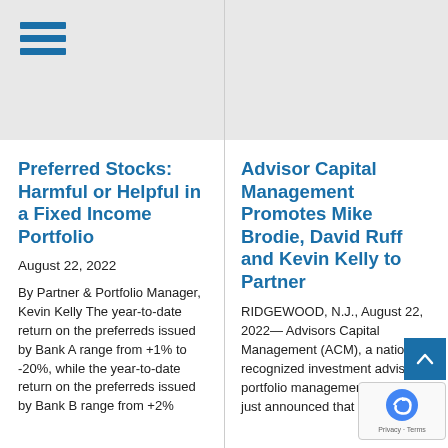[Figure (other): Hamburger menu icon with three horizontal blue bars]
Preferred Stocks: Harmful or Helpful in a Fixed Income Portfolio
August 22, 2022
By Partner & Portfolio Manager, Kevin Kelly The year-to-date return on the preferreds issued by Bank A range from +1% to -20%, while the year-to-date return on the preferreds issued by Bank B range from +2%
Advisor Capital Management Promotes Mike Brodie, David Ruff and Kevin Kelly to Partner
RIDGEWOOD, N.J., August 22, 2022— Advisors Capital Management (ACM), a nationally recognized investment advisor portfolio management firm, has just announced that David